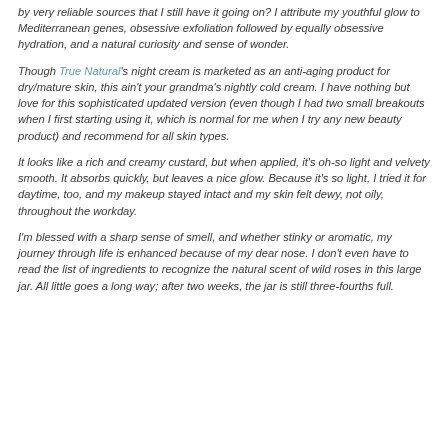by very reliable sources that I still have it going on?  I attribute my youthful glow to Mediterranean genes, obsessive exfoliation followed by equally obsessive hydration, and a natural curiosity and sense of wonder.
Though True Natural's night cream is marketed as an anti-aging product for dry/mature skin, this ain't your grandma's nightly cold cream.  I have nothing but love for this sophisticated updated version (even though I had two small breakouts when I first starting using it, which is normal for me when I try any new beauty product) and recommend for all skin types.
It looks like a rich and creamy custard, but when applied, it's oh-so light and velvety smooth.  It absorbs quickly, but leaves a nice glow. Because it's so light, I tried it for daytime, too, and my makeup stayed intact and my skin felt dewy, not oily, throughout the workday.
I'm blessed with a sharp sense of smell, and whether stinky or aromatic, my journey through life is enhanced because of my dear nose.  I don't even have to read the list of ingredients to recognize the natural scent of wild roses in this large jar.  All little goes a long way; after two weeks, the jar is still three-fourths full.